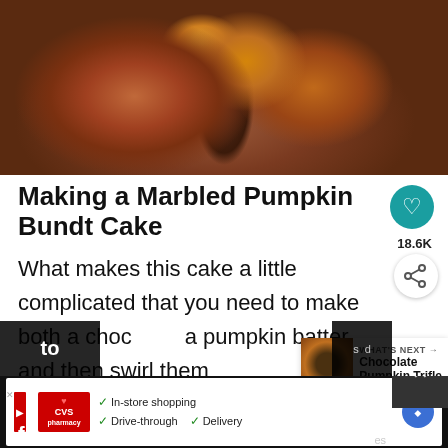[Figure (photo): Close-up photo of a marbled pumpkin bundt cake with chocolate swirls and orange pumpkin batter, drizzled with chocolate glaze, shown sliced on a white surface.]
Making a Marbled Pumpkin Bundt Cake
What makes this cake a little complicated that you need to make both a choc a pumpkin batter and then swirl them
[Figure (infographic): What's Next panel showing Chocolate Pumpkin Trifle thumbnail with label 'WHAT'S NEXT →']
18.6K
[Figure (infographic): Advertisement banner: CVS Pharmacy ad with checkmarks for In-store shopping, Drive-through, and Delivery options, with navigation arrow icon.]